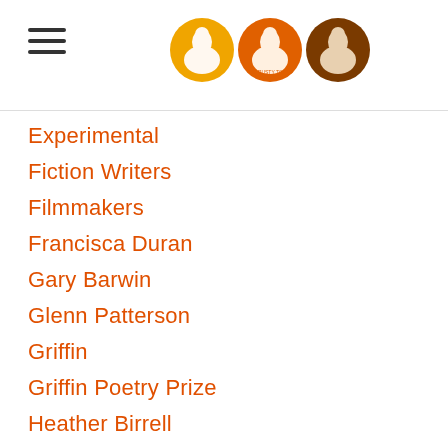Navigation header with hamburger menu and logo icons
Experimental
Fiction Writers
Filmmakers
Francisca Duran
Gary Barwin
Glenn Patterson
Griffin
Griffin Poetry Prize
Heather Birrell
Hoa Nguyen
Iain Macleod
Illustrators
Interview
Ivan E. Coyote
Jacob Mcarthur Mooney
Jacob Wren
Jacqueline Valencia